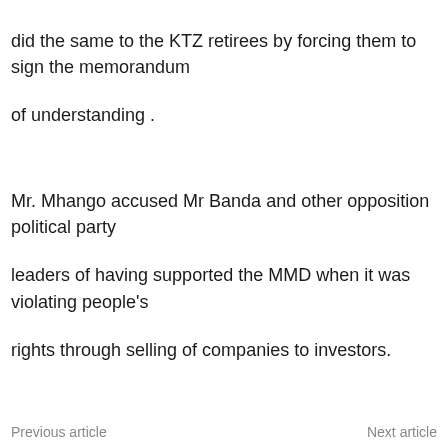did the same to the KTZ retirees by forcing them to sign the memorandum
of understanding .
Mr. Mhango accused Mr Banda and other opposition political party
leaders of having supported the MMD when it was violating people's
rights through selling of companies to investors.
Previous article    Next article